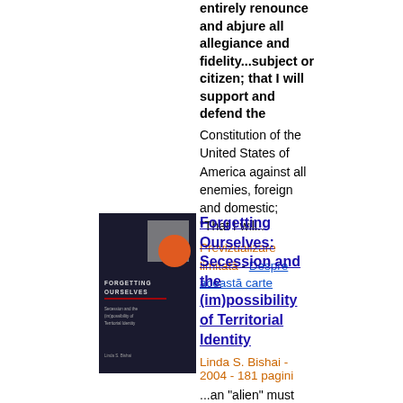entirely renounce and abjure all allegiance and fidelity...subject or citizen; that I will support and defend the Constitution of the United States of America against all enemies, foreign and domestic; "That I will... Previzualizare limitată - Despre această carte
[Figure (photo): Book cover of 'Forgetting Ourselves: Secession and the (im)possibility of Territorial Identity' — dark cover with gray square and orange circle, text 'FORGETTING OURSELVES']
Forgetting Ourselves: Secession and the (im)possibility of Territorial Identity
Linda S. Bishai - 2004 - 181 pagini
...an "alien" must